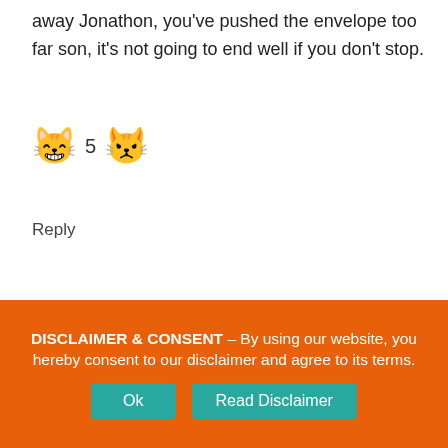away Jonathon, you've pushed the envelope too far son, it's not going to end well if you don't stop.
[Figure (other): Emoji row: grinning cat face emoji, number 5, angry cat face emoji]
Reply
Leave a Reply
Your email address will not be published. Required fields are marked *
Comment *
DISCLAIMER & CONSENT – By using our website, you hereby consent to our disclaimer and agree to its terms.